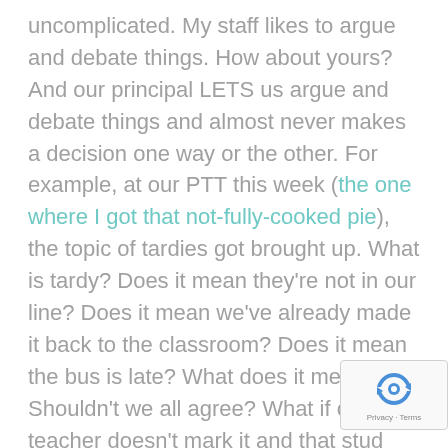uncomplicated.  My staff likes to argue and debate things.  How about yours?  And our principal LETS us argue and debate things and almost never makes a decision one way or the other.  For example, at our PTT this week (the one where I got that not-fully-cooked pie), the topic of tardies got brought up.  What is tardy?  Does it mean they're not in our line?  Does it mean we've already made it back to the classroom?  Does it mean the bus is late?  What does it mean?  Shouldn't we all agree?  What if one teacher doesn't mark it and that stud has a sibling and that teacher does m it?